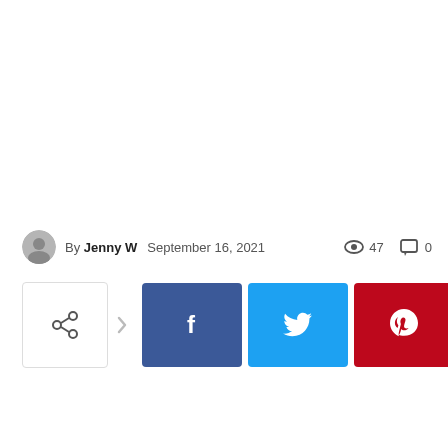By Jenny W  September 16, 2021  47  0
[Figure (other): Social share buttons row: share icon, arrow, Facebook, Twitter, Pinterest, WhatsApp]